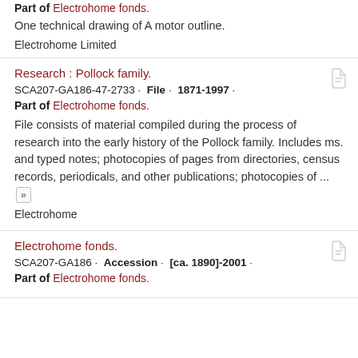Part of Electrohome fonds.
One technical drawing of A motor outline.
Electrohome Limited
Research : Pollock family.
SCA207-GA186-47-2733 · File · 1871-1997 ·
Part of Electrohome fonds.
File consists of material compiled during the process of research into the early history of the Pollock family. Includes ms. and typed notes; photocopies of pages from directories, census records, periodicals, and other publications; photocopies of ...
Electrohome
Electrohome fonds.
SCA207-GA186 · Accession · [ca. 1890]-2001 ·
Part of Electrohome fonds.